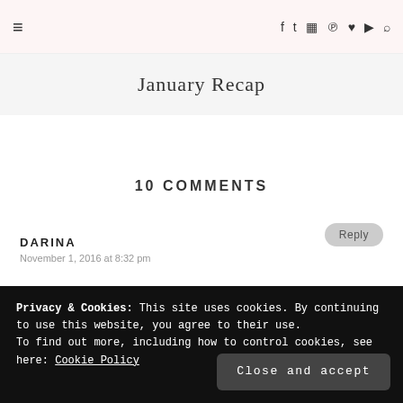≡   f  t  ☷  ℗  ♥  ▶  🔍
January Recap
10 COMMENTS
DARINA
November 1, 2016 at 8:32 pm
Privacy & Cookies: This site uses cookies. By continuing to use this website, you agree to their use.
To find out more, including how to control cookies, see here: Cookie Policy
Close and accept